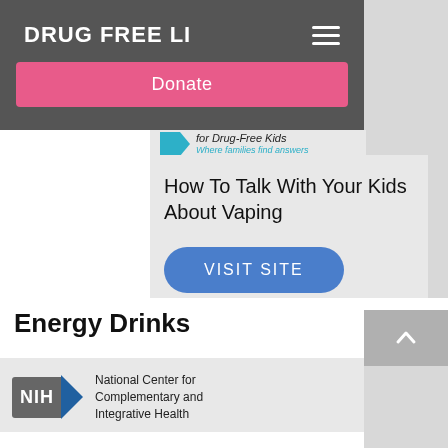DRUG FREE LI
[Figure (screenshot): Navigation bar with DRUG FREE LI title, hamburger menu icon, and pink Donate button]
[Figure (logo): Partnership for Drug-Free Kids logo - Where families find answers]
How To Talk With Your Kids About Vaping
VISIT SITE
Energy Drinks
[Figure (logo): NIH National Center for Complementary and Integrative Health logo]